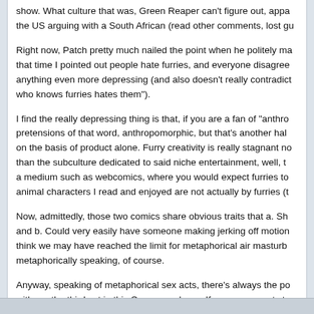show. What culture that was, Green Reaper can't figure out, appa- the US arguing with a South African (read other comments, lost gu
Right now, Patch pretty much nailed the point when he politely ma- that time I pointed out people hate furries, and everyone disagree- anything even more depressing (and also doesn't really contradict who knows furries hates them").
I find the really depressing thing is that, if you are a fan of "anthro pretensions of that word, anthropomorphic, but that's another hal- on the basis of product alone. Furry creativity is really stagnant no- than the subculture dedicated to said niche entertainment, well, t- a medium such as webcomics, where you would expect furries to animal characters I read and enjoyed are not actually by furries (t-
Now, admittedly, those two comics share obvious traits that a. Sh- and b. Could very easily have someone making jerking off motion- think we may have reached the limit for metaphorical air masturb- metaphorically speaking, of course.
Anyway, speaking of metaphorical sex acts, there's always the po- with me the third act in this Crazy gangbang. If someone wants to intended), well, all I can say is I called vagina. I will brook no argu-